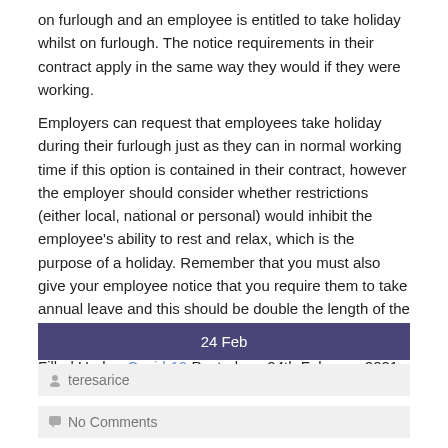on furlough and an employee is entitled to take holiday whilst on furlough. The notice requirements in their contract apply in the same way they would if they were working.
Employers can request that employees take holiday during their furlough just as they can in normal working time if this option is contained in their contract, however the employer should consider whether restrictions (either local, national or personal) would inhibit the employee's ability to rest and relax, which is the purpose of a holiday. Remember that you must also give your employee notice that you require them to take annual leave and this should be double the length of the holiday required.
Filled Under: Covid-19 Posted on: 24th February 2021
24 Feb
teresarice
No Comments